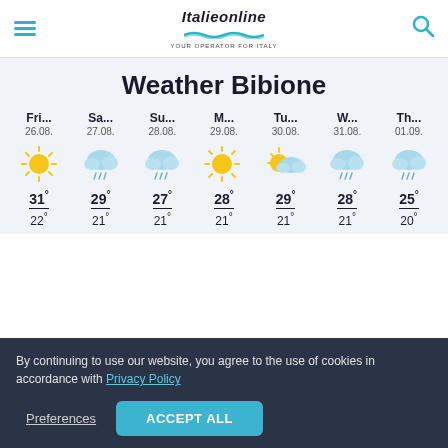Italieonline - YOUR OPERATOR FOR ITALY
Weather Bibione
[Figure (infographic): 7-day weather forecast for Bibione showing daily weather icons and temperatures. Fri 26.08: sunny, 31°/22°; Sa 27.08: cloudy with rain, 29°/21°; Su 28.08: cloudy with rain, 27°/21°; M 29.08: sunny, 28°/21°; Tu 30.08: partly cloudy, 29°/21°; W 31.08: cloudy with rain, 28°/21°; Th 01.09: cloudy with rain, 25°/20°]
By continuing to use our website, you agree to the use of cookies in accordance with Privacy Policy
Preferences
ACCEPT ALL